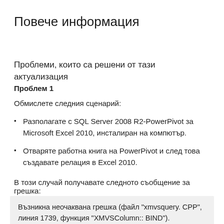Повече информация
Проблеми, които са решени от тази актуализация
Проблем 1
Обмислете следния сценарий:
Разполагате с SQL Server 2008 R2-PowerPivot за Microsoft Excel 2010, инсталиран на компютър.
Отваряте работна книга на PowerPivot и след това създавате релация в Excel 2010.
В този случай получавате следното съобщение за грешка:
Възникна неочаквана грешка (файл "xmvsquery. CPP", линия 1739, функция "XMVSColumn:: BIND").